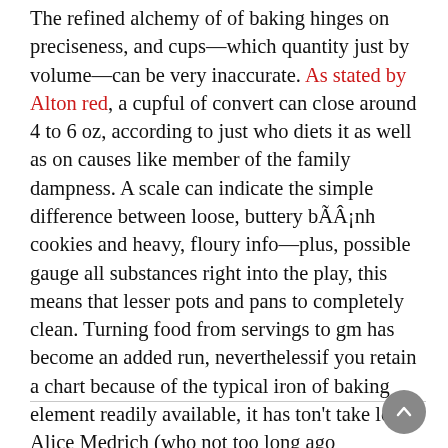The refined alchemy of of baking hinges on preciseness, and cups—which quantity just by volume—can be very inaccurate. As stated by Alton red, a cupful of convert can close around 4 to 6 oz, according to just who diets it as well as on causes like member of the family dampness. A scale can indicate the simple difference between loose, buttery bÃÂ¡nh cookies and heavy, floury info—plus, possible gauge all substances right into the play, this means that lesser pots and pans to completely clean. Turning food from servings to gm has become an added run, neverthelessif you retain a chart because of the typical iron of baking element readily available, it has ton't take long. Alice Medrich (who not too long ago manufactured so for burning with a scale through the Evergreen send) noted that a scale can be chosen in hassle-free if you decide to don't own a cookie pick but need to make you are lose cakes exactly the same coat (which means that the team prepare consistently).